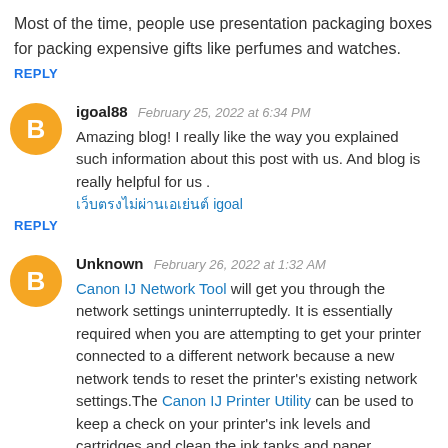Most of the time, people use presentation packaging boxes for packing expensive gifts like perfumes and watches.
REPLY
igoal88   February 25, 2022 at 6:34 PM
Amazing blog! I really like the way you explained such information about this post with us. And blog is really helpful for us . เว็บตรงไม่ผ่านเอเย่นต์ igoal
REPLY
Unknown   February 26, 2022 at 1:32 AM
Canon IJ Network Tool will get you through the network settings uninterruptedly. It is essentially required when you are attempting to get your printer connected to a different network because a new network tends to reset the printer's existing network settings.The Canon IJ Printer Utility can be used to keep a check on your printer's ink levels and cartridges and clean the ink tanks and paper.